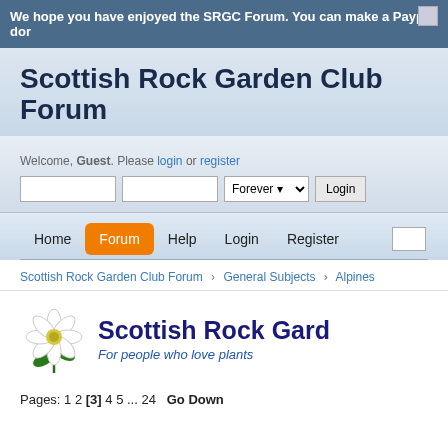We hope you have enjoyed the SRGC Forum. You can make a Paypal don
Scottish Rock Garden Club Forum
Welcome, Guest. Please login or register
[Figure (screenshot): Login form with username field, password field, Forever dropdown and Login button]
[Figure (screenshot): Navigation bar with Home, Forum (active/orange), Help, Login, Register links and search box]
Scottish Rock Garden Club Forum  General Subjects  Alpines
[Figure (logo): Scottish Rock Garden Club logo with flower illustration and text 'Scottish Rock Gard' and 'For people who love plants']
Pages: 1 2 [3] 4 5 ... 24  Go Down